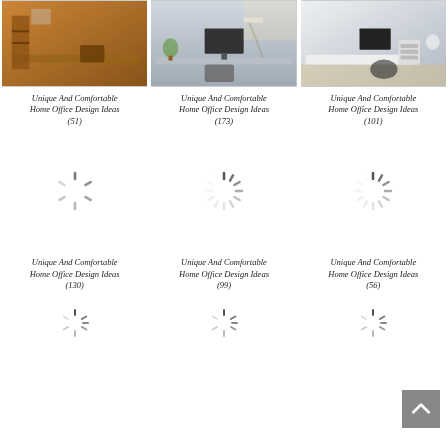[Figure (photo): Home office with wooden L-shaped desk and shelving, warm lighting]
[Figure (photo): Modern home office with long white desk, two monitors, task lighting]
[Figure (photo): Minimalist home office with white desk, drawers, black chair]
Unique And Comfortable Home Office Design Ideas (51)
Unique And Comfortable Home Office Design Ideas (173)
Unique And Comfortable Home Office Design Ideas (101)
[Figure (other): Loading spinner placeholder]
[Figure (other): Loading spinner placeholder]
[Figure (other): Loading spinner placeholder]
Unique And Comfortable Home Office Design Ideas (130)
Unique And Comfortable Home Office Design Ideas (99)
Unique And Comfortable Home Office Design Ideas (56)
[Figure (other): Loading spinner placeholder (partial, row 3)]
[Figure (other): Loading spinner placeholder (partial, row 3)]
[Figure (other): Loading spinner placeholder (partial, row 3)]